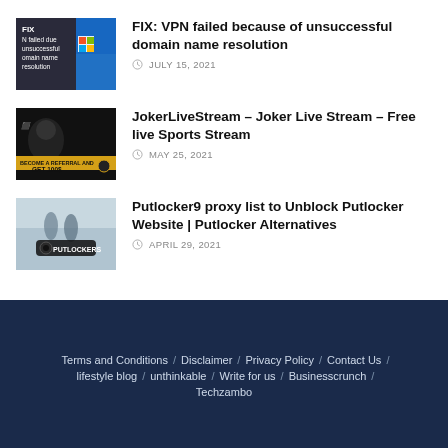[Figure (screenshot): Thumbnail for VPN fix article: dark background with text 'FIX VPN failed due unsuccessful domain name resolution' and blue Windows logo]
FIX: VPN failed because of unsuccessful domain name resolution
JULY 15, 2021
[Figure (screenshot): Thumbnail for JokerLiveStream article: dark image with person in joker makeup and yellow banner 'BECOME A REFERRAL AND GET 100$']
JokerLiveStream – Joker Live Stream – Free live Sports Stream
MAY 25, 2021
[Figure (screenshot): Thumbnail for Putlocker9 article: light image with two silhouetted figures and Putlockers logo]
Putlocker9 proxy list to Unblock Putlocker Website | Putlocker Alternatives
APRIL 29, 2021
Terms and Conditions / Disclaimer / Privacy Policy / Contact Us / lifestyle blog / unthinkable / Write for us / Businesscrunch / Techzambo